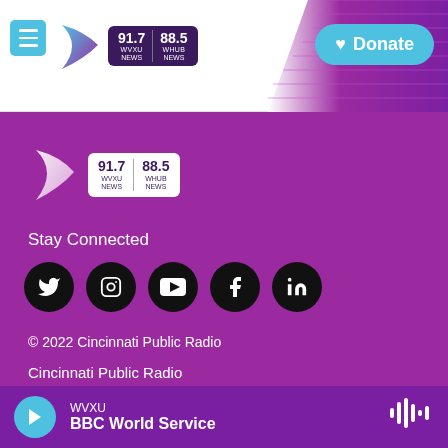[Figure (logo): WVXU radio station header with hamburger menu, play arrow logo, 91.7 WVXU NEWS and 88.5 WHUB NEWS frequency badges, purple diagonal stripe, and cyan Donate button]
[Figure (logo): WVXU/WHUB radio station logo on purple footer background, white play arrow with 91.7 WVXU NEWS and 88.5 WHUB NEWS badge]
Stay Connected
[Figure (infographic): Row of 5 social media icons (Twitter, Instagram, YouTube, Facebook, LinkedIn) as black circles on purple background]
© 2022 Cincinnati Public Radio
Cincinnati Public Radio
About WVXU
[Figure (infographic): Audio player bar at bottom with cyan play button, WVXU label, BBC World Service show title, and waveform icon]